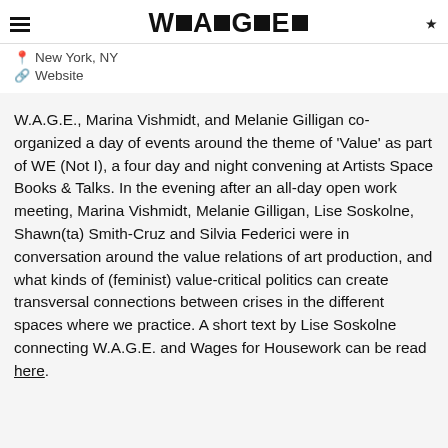W■A■G■E■ — New York, NY — Website
W.A.G.E., Marina Vishmidt, and Melanie Gilligan co-organized a day of events around the theme of 'Value' as part of WE (Not I), a four day and night convening at Artists Space Books & Talks. In the evening after an all-day open work meeting, Marina Vishmidt, Melanie Gilligan, Lise Soskolne, Shawn(ta) Smith-Cruz and Silvia Federici were in conversation around the value relations of art production, and what kinds of (feminist) value-critical politics can create transversal connections between crises in the different spaces where we practice. A short text by Lise Soskolne connecting W.A.G.E. and Wages for Housework can be read here.